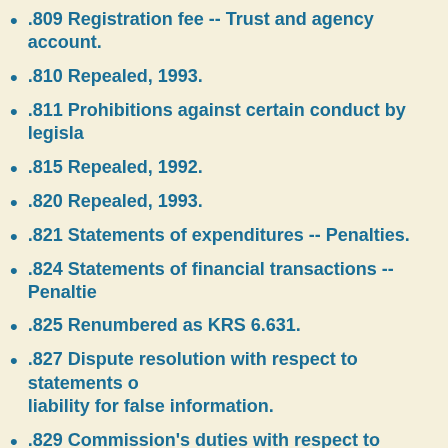.809 Registration fee -- Trust and agency account.
.810 Repealed, 1993.
.811 Prohibitions against certain conduct by legisla…
.815 Repealed, 1992.
.820 Repealed, 1993.
.821 Statements of expenditures -- Penalties.
.824 Statements of financial transactions -- Penalties…
.825 Renumbered as KRS 6.631.
.827 Dispute resolution with respect to statements of… liability for false information.
.829 Commission's duties with respect to legislative…
.849 [Number not yet utilized.]
.850 Repealed, 1993.